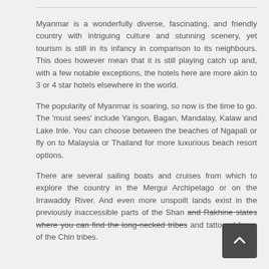Myanmar is a wonderfully diverse, fascinating, and friendly country with intriguing culture and stunning scenery, yet tourism is still in its infancy in comparison to its neighbours. This does however mean that it is still playing catch up and, with a few notable exceptions, the hotels here are more akin to 3 or 4 star hotels elsewhere in the world.
The popularity of Myanmar is soaring, so now is the time to go. The 'must sees' include Yangon, Bagan, Mandalay, Kalaw and Lake Inle. You can choose between the beaches of Ngapali or fly on to Malaysia or Thailand for more luxurious beach resort options.
There are several sailing boats and cruises from which to explore the country in the Mergui Archipelago or on the Irrawaddy River. And even more unspoilt lands exist in the previously inaccessible parts of the Shan and Rakhine states where you can find the long-necked tribes and tattooed faces of the Chin tribes.